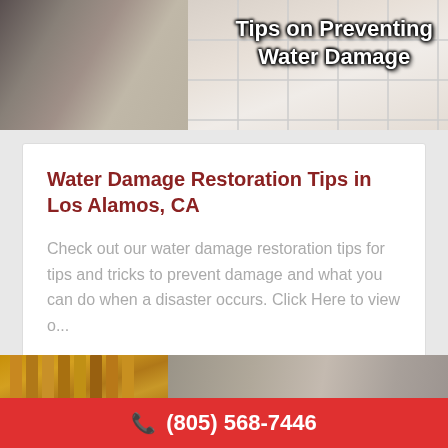[Figure (photo): Damaged wall and tile area showing water damage and mold with overlaid title text 'Tips on Preventing Water Damage']
Tips on Preventing Water Damage
Water Damage Restoration Tips in Los Alamos, CA
Check out our water damage restoration tips for tips and tricks to prevent damage and what you can do when a disaster occurs. Click Here to view o...
Read More
[Figure (photo): Water-damaged wooden framing and wet carpet flooring]
(805) 568-7446